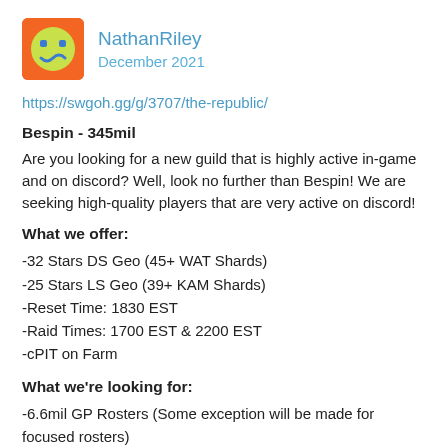NathanRiley — December 2021
https://swgoh.gg/g/3707/the-republic/
Bespin - 345mil
Are you looking for a new guild that is highly active in-game and on discord? Well, look no further than Bespin! We are seeking high-quality players that are very active on discord!
What we offer:
-32 Stars DS Geo (45+ WAT Shards)
-25 Stars LS Geo (39+ KAM Shards)
-Reset Time: 1830 EST
-Raid Times: 1700 EST & 2200 EST
-cPIT on Farm
What we're looking for:
-6.6mil GP Rosters (Some exception will be made for focused rosters)